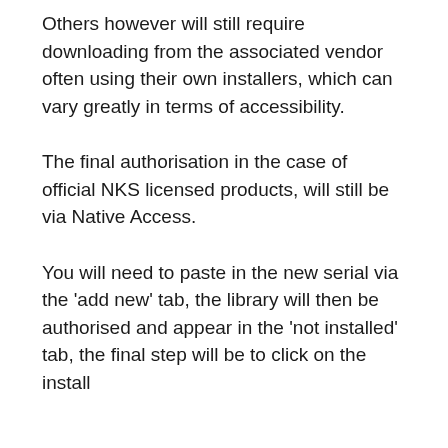Others however will still require downloading from the associated vendor often using their own installers, which can vary greatly in terms of accessibility.
The final authorisation in the case of official NKS licensed products, will still be via Native Access.
You will need to paste in the new serial via the 'add new' tab, the library will then be authorised and appear in the 'not installed' tab, the final step will be to click on the install